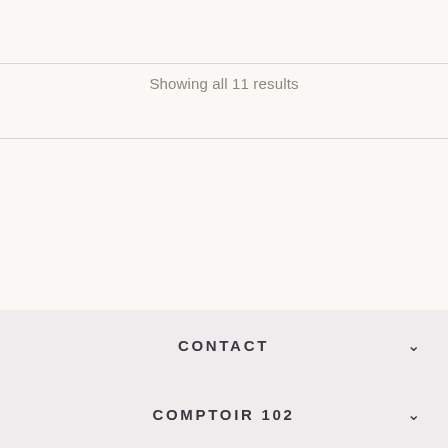Showing all 11 results
CONTACT
COMPTOIR 102